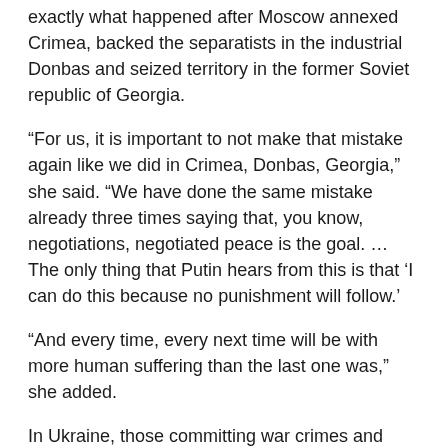exactly what happened after Moscow annexed Crimea, backed the separatists in the industrial Donbas and seized territory in the former Soviet republic of Georgia.
“For us, it is important to not make that mistake again like we did in Crimea, Donbas, Georgia,” she said. “We have done the same mistake already three times saying that, you know, negotiations, negotiated peace is the goal. … The only thing that Putin hears from this is that ‘I can do this because no punishment will follow.’
“And every time, every next time will be with more human suffering than the last one was,” she added.
In Ukraine, those committing war crimes and “conducting or trying to conduct genocide” should be prosecuted.
Sanctions against Russia will take effect over time, she said, and one just needs to have “strategic patience.”